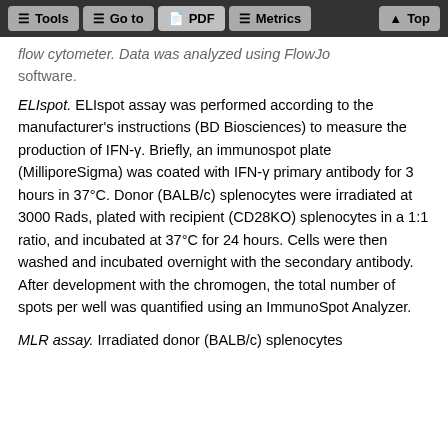Tools | Go to | PDF | Metrics | Top
flow cytometer. Data was analyzed using FlowJo software.
ELIspot. ELIspot assay was performed according to the manufacturer's instructions (BD Biosciences) to measure the production of IFN-γ. Briefly, an immunospot plate (MilliporeSigma) was coated with IFN-γ primary antibody for 3 hours in 37°C. Donor (BALB/c) splenocytes were irradiated at 3000 Rads, plated with recipient (CD28KO) splenocytes in a 1:1 ratio, and incubated at 37°C for 24 hours. Cells were then washed and incubated overnight with the secondary antibody. After development with the chromogen, the total number of spots per well was quantified using an ImmunoSpot Analyzer.
MLR assay. Irradiated donor (BALB/c) splenocytes